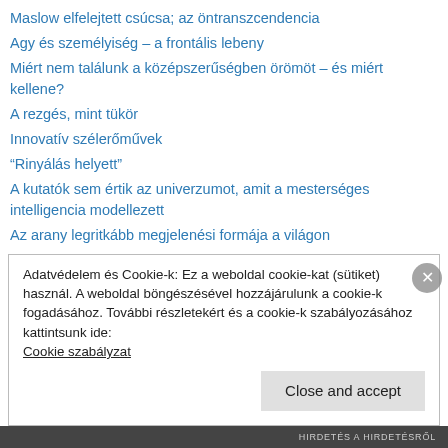Maslow elfelejtett csúcsa; az öntranszcendencia
Agy és személyiség – a frontális lebeny
Miért nem találunk a középszerűségben örömöt – és miért kellene?
A rezgés, mint tükör
Innovatív szélerőművek
“Rinyálás helyett”
A kutatók sem értik az univerzumot, amit a mesterséges intelligencia modellezett
Az arany legritkább megjelenési formája a világon
Mi a fene az a felhő alapú gyártás
A gátlásos a társaságkerülő és a kreatív – az "elvonulók" három típusa
Összesen három tantárgy lesz a Prezi alapítójának iskoláiban
Tükör által homályosan
Adatvédelem és Cookie-k: Ez a weboldal cookie-kat (sütiket) használ. A weboldal böngészésével hozzájárulunk a cookie-k fogadásához. További részletekért és a cookie-k szabályozásához kattintsunk ide: Cookie szabályzat
HIRDETÉS